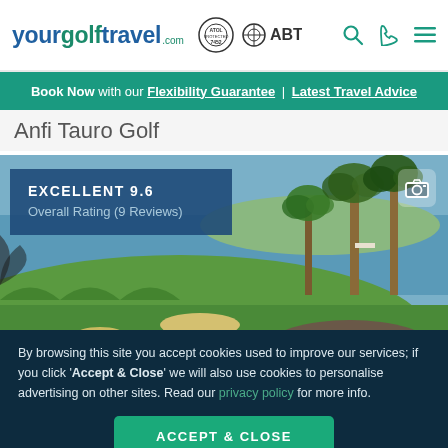yourgolftravel.com — ATOL ABTA — Search Phone Menu
Book Now with our Flexibility Guarantee | Latest Travel Advice
Anfi Tauro Golf
[Figure (photo): Golf course photo showing green fairway, rocky landscape, palm trees, ocean in background]
EXCELLENT 9.6 Overall Rating (9 Reviews)
By browsing this site you accept cookies used to improve our services; if you click 'Accept & Close' we will also use cookies to personalise advertising on other sites. Read our privacy policy for more info.
ACCEPT & CLOSE
Reject personalised marketing